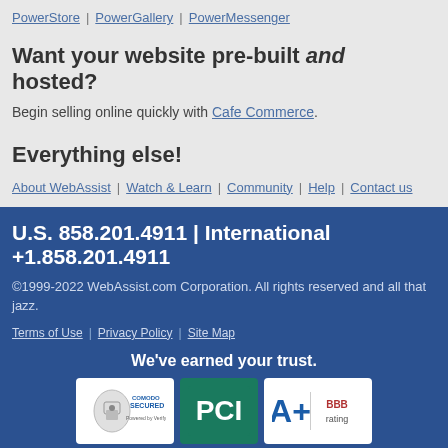PowerStore | PowerGallery | PowerMessenger
Want your website pre-built and hosted?
Begin selling online quickly with Cafe Commerce.
Everything else!
About WebAssist | Watch & Learn | Community | Help | Contact us
U.S. 858.201.4911 | International +1.858.201.4911
©1999-2022 WebAssist.com Corporation. All rights reserved and all that jazz.
Terms of Use | Privacy Policy | Site Map
We've earned your trust.
[Figure (logo): Comodo Secured badge, PCI badge, BBB A+ rating badge]
Connect with us.
[Figure (illustration): Social media icons: Facebook, Twitter, LinkedIn, YouTube]